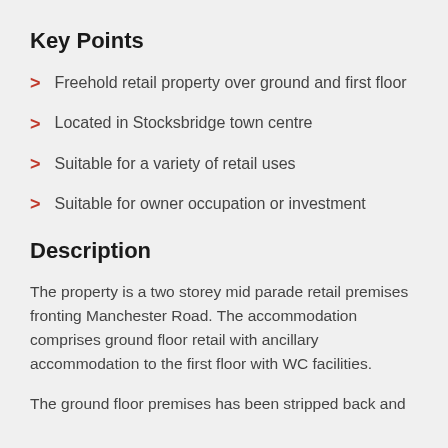Key Points
Freehold retail property over ground and first floor
Located in Stocksbridge town centre
Suitable for a variety of retail uses
Suitable for owner occupation or investment
Description
The property is a two storey mid parade retail premises fronting Manchester Road. The accommodation comprises ground floor retail with ancillary accommodation to the first floor with WC facilities.
The ground floor premises has been stripped back and